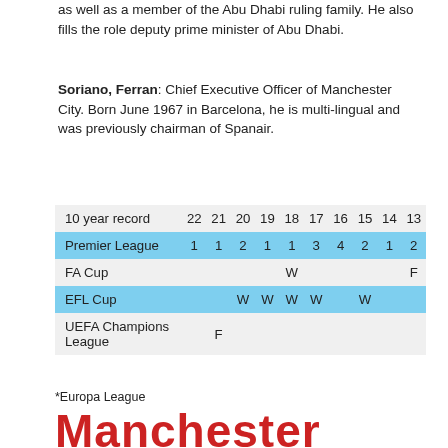as well as a member of the Abu Dhabi ruling family. He also fills the role deputy prime minister of Abu Dhabi.
Soriano, Ferran: Chief Executive Officer of Manchester City. Born June 1967 in Barcelona, he is multi-lingual and was previously chairman of Spanair.
| 10 year record | 22 | 21 | 20 | 19 | 18 | 17 | 16 | 15 | 14 | 13 |
| --- | --- | --- | --- | --- | --- | --- | --- | --- | --- | --- |
| Premier League | 1 | 1 | 2 | 1 | 1 | 3 | 4 | 2 | 1 | 2 |
| FA Cup |  |  |  |  | W |  |  |  |  | F |
| EFL Cup |  |  | W | W | W | W |  | W |  |  |
| UEFA Champions League |  | F |  |  |  |  |  |  |  |  |
*Europa League
Manchester United